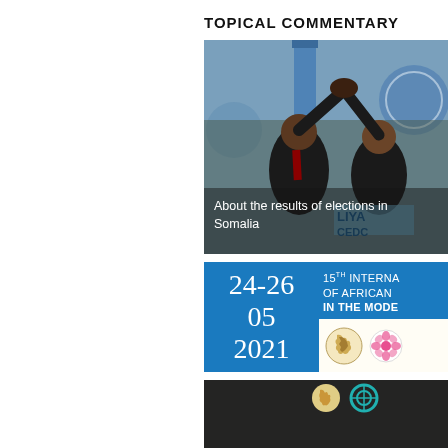TOPICAL COMMENTARY
[Figure (photo): Two men in suits raising joined hands in victory at a ceremony with flags and official seals in the background. Text overlay reads: About the results of elections in Somalia]
About the results of elections in Somalia
[Figure (infographic): Blue banner for 15th International [Conference] of Africanists IN THE MODE[rn World], dated 24-26 May 2021, with Africa map logo and flower logo]
[Figure (photo): Dark background image with Africa map logo, teal circular logo, and text XX ALL-RUSSIAN SC[HOOL]]